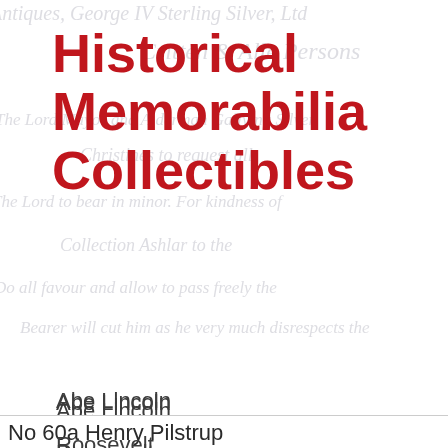Historical Memorabilia Collectibles
Abe Lincoln
Roosevelt
JFK
Benjamin Franklin
Paul Revere
Betsy Ross
No 60a Henry Pilstrup